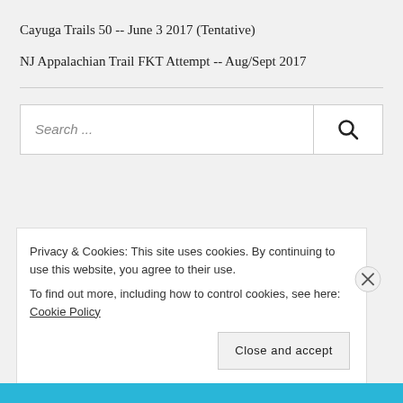Cayuga Trails 50 -- June 3 2017 (Tentative)
NJ Appalachian Trail FKT Attempt -- Aug/Sept 2017
Search ...
Privacy & Cookies: This site uses cookies. By continuing to use this website, you agree to their use.
To find out more, including how to control cookies, see here: Cookie Policy
Close and accept